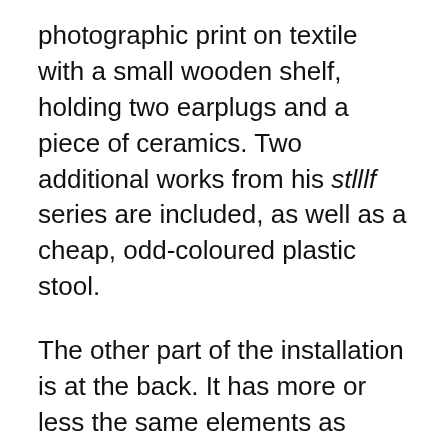photographic print on textile with a small wooden shelf, holding two earplugs and a piece of ceramics. Two additional works from his stillf series are included, as well as a cheap, odd-coloured plastic stool.
The other part of the installation is at the back. It has more or less the same elements as those described above. Here too is a print on textile, hanging on a specially-made structure that echoes the model in the front space, as well as a work from the stillf series, a porcelain cup and plastic stools. But here, the works